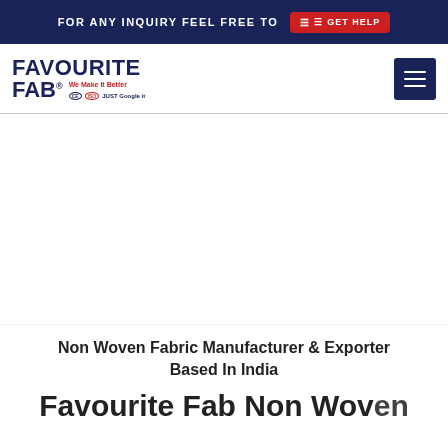FOR ANY INQUIRY FEEL FREE TO  GET HELP
[Figure (logo): Favourite Fab logo with tagline 'We Make It Better' and certification marks CE, ISO, JUST Google IT, in navy blue and red]
Non Woven Fabric Manufacturer & Exporter Based In India
Favourite Fab Non Woven